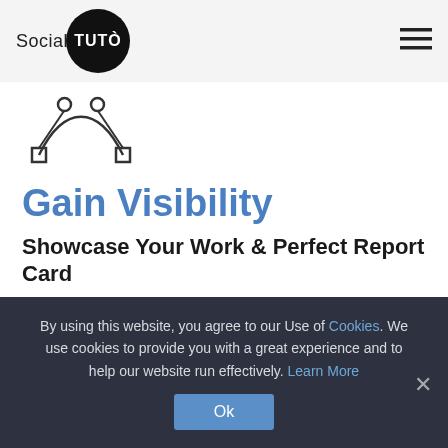Social TUTO
[Figure (illustration): Bezier curve / pen tool icon with two anchor points and handles]
Gain Visibility
Showcase Your Work & Perfect Report Card
Increase recognition and credibility through a curriculum you create. Showcase your mastery, demonstrate
By using this website, you agree to our Use of Cookies. We use cookies to provide you with a great experience and to help our website run effectively. Learn More
Ok